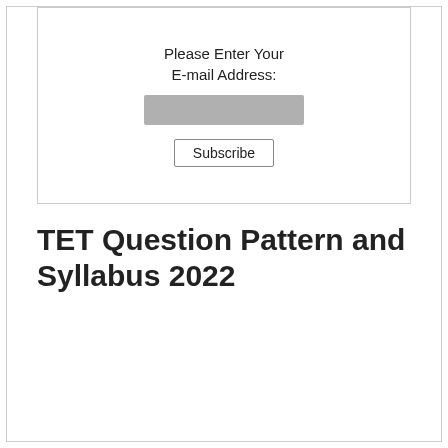Please Enter Your
E-mail Address:
[Figure (screenshot): Email input field (grey rectangle) and Subscribe button inside a bordered box]
TET Question Pattern and Syllabus 2022